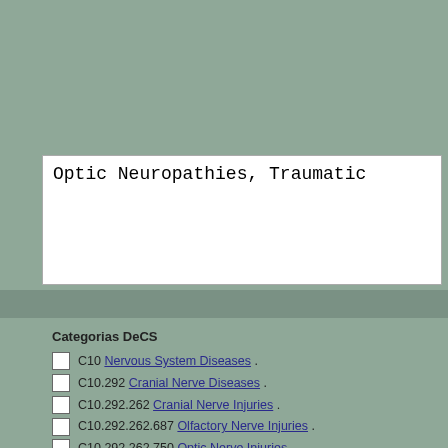Optic Neuropathies, Traumatic
Categorias DeCS
C10 Nervous System Diseases .
C10.292 Cranial Nerve Diseases .
C10.292.262 Cranial Nerve Injuries .
C10.292.262.687 Olfactory Nerve Injuries .
C10.292.262.750 Optic Nerve Injuries .
C10.292.650 Olfactory Nerve Diseases .
C10.292.650.600 Olfactory Nerve Injuries .
C10.292.700 Optic Nerve Diseases .
C10.292.700.475 Optic Nerve Injuries .
C10.900 Trauma, Nervous System .
C10.900.300 Craniocerebral Trauma .
C10.900.300.218 Cranial Nerve Injuries .
C10.900.300.218.487 Olfactory Nerve Injuries .